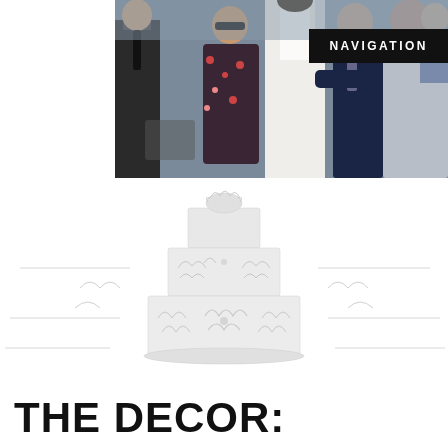[Figure (photo): Wedding photo showing a group of people at a reception; a bride in white dress with veil being hugged by a man in suit; bridesmaids and guests visible in background]
NAVIGATION
[Figure (illustration): Faint watermark/background illustration of a wedding cake with botanical/floral decorations, rendered in light gray on white background]
THE DECOR: